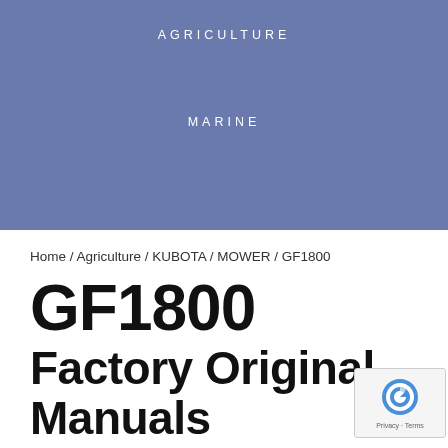AGRICULTURE
MARINE
Home / Agriculture / KUBOTA / MOWER / GF1800
GF1800
Factory Original Manuals
Click below to select your product . View factory o... operator, service repair, electrical wiring diagram a... parts catalog manuals for the . If you're looking fo...